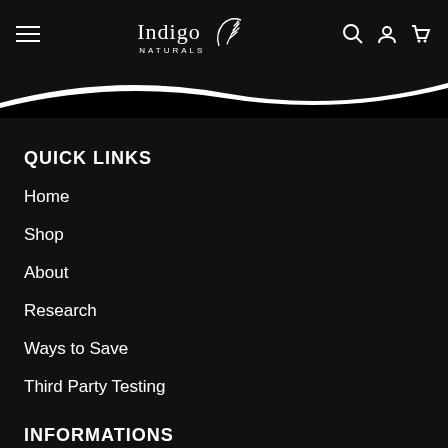Indigo Naturals
QUICK LINKS
Home
Shop
About
Research
Ways to Save
Third Party Testing
INFORMATIONS
Our Quality Guarantee